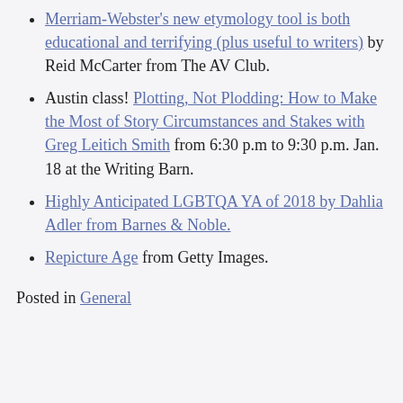Merriam-Webster's new etymology tool is both educational and terrifying (plus useful to writers) by Reid McCarter from The AV Club.
Austin class! Plotting, Not Plodding: How to Make the Most of Story Circumstances and Stakes with Greg Leitich Smith from 6:30 p.m to 9:30 p.m. Jan. 18 at the Writing Barn.
Highly Anticipated LGBTQA YA of 2018 by Dahlia Adler from Barnes & Noble.
Repicture Age from Getty Images.
Posted in General